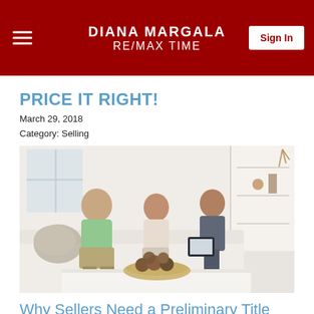DIANA MARGALA RE/MAX TIME
PRICE IT RIGHT!
March 29, 2018
Category: Selling
[Figure (photo): A real estate agent sitting on a white couch with an older couple, reviewing documents/tablet together in a bright modern living room with a coffee table holding a decorative bowl.]
Why Sellers Need a Preliminary Title Report